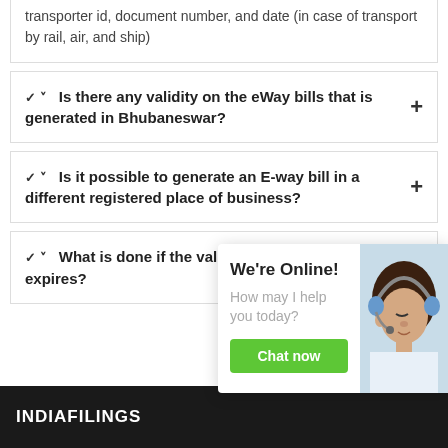transporter id, document number, and date (in case of transport by rail, air, and ship)
Is there any validity on the eWay bills that is generated in Bhubaneswar?
Is it possible to generate an E-way bill in a different registered place of business?
What is done if the validity of the E-way bill expires?
[Figure (other): Live chat widget showing 'We're Online! How may I help you today?' with a Chat now button and a photo of a customer service representative with a headset]
INDIAFILINGS